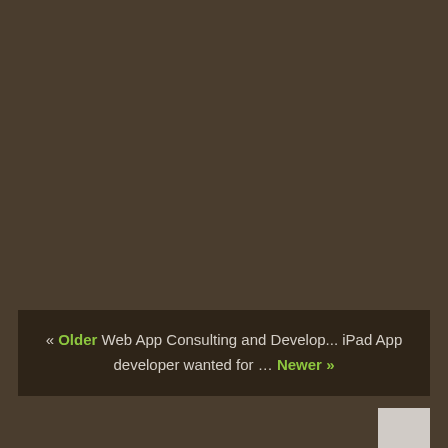« Older Web App Consulting and Develop... iPad App developer wanted for ... Newer »